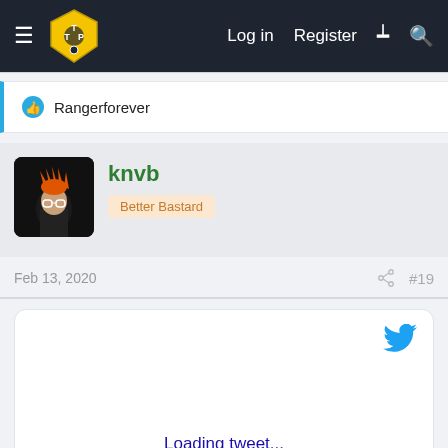TTP Forum — Log in  Register
Rangerforever
knvb
Better Bastard
Feb 13, 2020  #19
[Figure (screenshot): Embedded tweet placeholder showing Twitter bird logo and 'Loading tweet...' link]